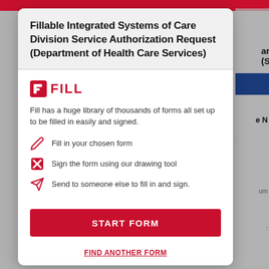Fillable Integrated Systems of Care Division Service Authorization Request (Department of Health Care Services)
[Figure (logo): FILL app logo — red stylized F icon followed by bold red text FILL]
Fill has a huge library of thousands of forms all set up to be filled in easily and signed.
Fill in your chosen form
Sign the form using our drawing tool
Send to someone else to fill in and sign.
START FORM
FIND ANOTHER FORM